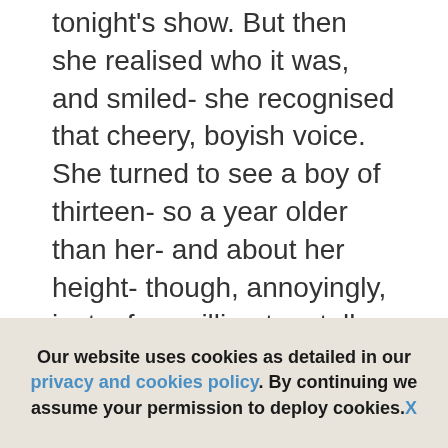tonight's show. But then she realised who it was, and smiled- she recognised that cheery, boyish voice. She turned to see a boy of thirteen- so a year older than her- and about her height- though, annoyingly, just a few millimetres taller- rushing towards the two of them. He had sandy hair and twinkling green eyes, and a straight nose covered in freckles, and a wide, cheeky grin that only one person Sophie knew in the world had- Jacey, her oldest and dearest friend. She and Jacey went far, far back- he had been in the gang of pickpockets she had joined after her escape from the St James' Parish, and they had both been
Our website uses cookies as detailed in our privacy and cookies policy. By continuing we assume your permission to deploy cookies. X